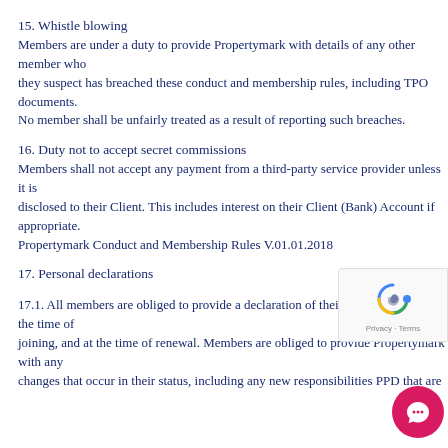15. Whistle blowing
Members are under a duty to provide Propertymark with details of any other member who they suspect has breached these conduct and membership rules, including TPO documents.
No member shall be unfairly treated as a result of reporting such breaches.
16. Duty not to accept secret commissions
Members shall not accept any payment from a third-party service provider unless it is disclosed to their Client. This includes interest on their Client (Bank) Account if appropriate.
Propertymark Conduct and Membership Rules V.01.01.2018
17. Personal declarations
17.1. All members are obliged to provide a declaration of their personal status at the time of joining, and at the time of renewal. Members are obliged to provide Propertymark with any changes that occur in their status, including any new responsibilities PPD that are